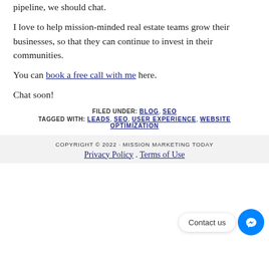pipeline, we should chat.
I love to help mission-minded real estate teams grow their businesses, so that they can continue to invest in their communities.
You can book a free call with me here.
Chat soon!
FILED UNDER: BLOG, SEO
TAGGED WITH: LEADS, SEO, USER EXPERIENCE, WEBSITE OPTIMIZATION
COPYRIGHT © 2022 · MISSION MARKETING TODAY
Privacy Policy . Terms of Use